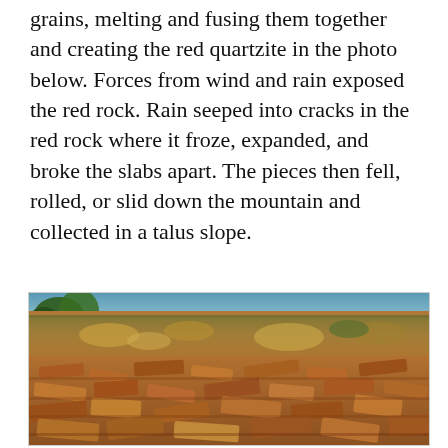grains, melting and fusing them together and creating the red quartzite in the photo below. Forces from wind and rain exposed the red rock. Rain seeped into cracks in the red rock where it froze, expanded, and broke the slabs apart. The pieces then fell, rolled, or slid down the mountain and collected in a talus slope.
[Figure (photo): Photograph of a talus slope showing angular reddish-orange quartzite rock fragments covering a hillside, with sparse dry vegetation and shrubs in the middle ground, and a blue sky with trees visible at the top.]